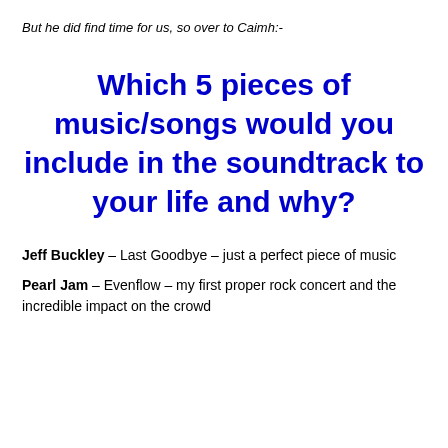But he did find time for us, so over to Caimh:-
Which 5 pieces of music/songs would you include in the soundtrack to your life and why?
Jeff Buckley – Last Goodbye – just a perfect piece of music
Pearl Jam – Evenflow – my first proper rock concert and the incredible impact on the crowd